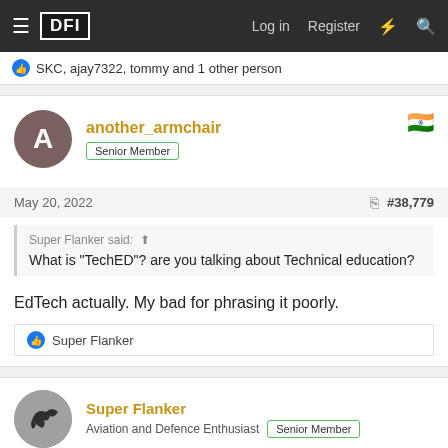≡ DFI  Log in  Register
👍 SKC, ajay7322, tommy and 1 other person
another_armchair
Senior Member
May 20, 2022  #38,779
Super Flanker said: ⬆
What is "TechED"? are you talking about Technical education?
EdTech actually. My bad for phrasing it poorly.
👍 Super Flanker
Super Flanker
Aviation and Defence Enthusiast  Senior Member